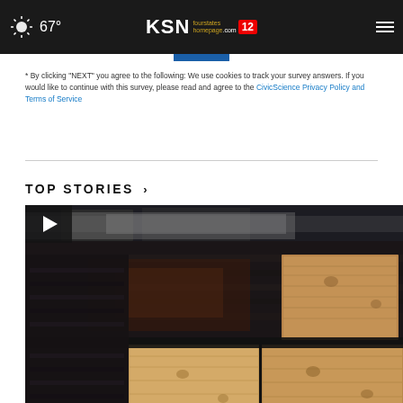67° KSN fourstates homepage.com 12
* By clicking "NEXT" you agree to the following: We use cookies to track your survey answers. If you would like to continue with this survey, please read and agree to the CivicScience Privacy Policy and Terms of Service
TOP STORIES ›
[Figure (photo): Burned building with plywood boards covering windows and openings, fire damage visible on dark charred wood exterior, video play button overlay in top left corner]